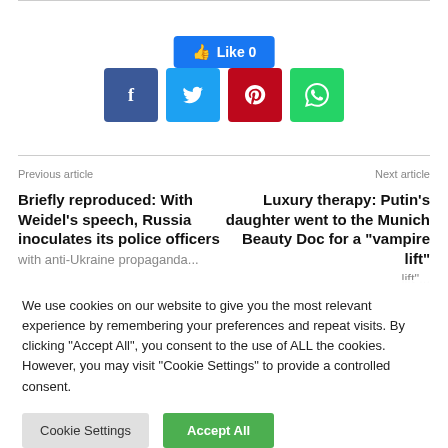[Figure (other): Facebook Like button showing count 0]
[Figure (other): Social sharing icons: Facebook (blue), Twitter (light blue), Pinterest (red), WhatsApp (green)]
Previous article
Next article
Briefly reproduced: With Weidel's speech, Russia inoculates its police officers with anti-Ukraine propaganda...
Luxury therapy: Putin's daughter went to the Munich Beauty Doc for a "vampire lift"...
We use cookies on our website to give you the most relevant experience by remembering your preferences and repeat visits. By clicking "Accept All", you consent to the use of ALL the cookies. However, you may visit "Cookie Settings" to provide a controlled consent.
Cookie Settings
Accept All